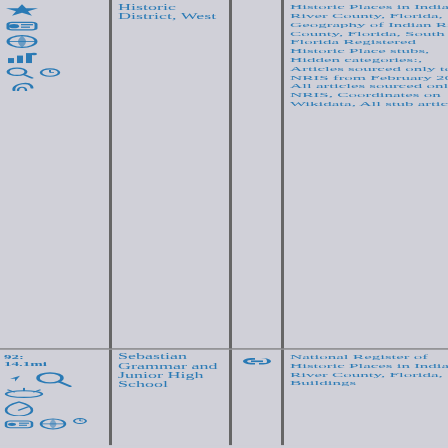[Figure (photo): Top row photo of a historic house on a street corner with trees and sandy ground]
Historic District, West
Historic Places in Indian River County, Florida, Geography of Indian River County, Florida, South Florida Registered Historic Place stubs, Hidden categories:, Articles sourced only to NRIS from February 2014, All articles sourced only to NRIS, Coordinates on Wikidata, All stub articles,
92: 14.1mi
Sebastian Grammar and Junior High School
National Register of Historic Places in Indian River County, Florida, Buildings
[Figure (photo): Bottom row photo of a white Mediterranean-style building with palm trees]